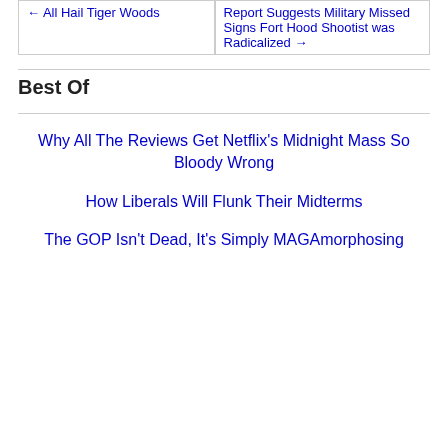← All Hail Tiger Woods
Report Suggests Military Missed Signs Fort Hood Shootist was Radicalized →
Best Of
Why All The Reviews Get Netflix's Midnight Mass So Bloody Wrong
How Liberals Will Flunk Their Midterms
The GOP Isn't Dead, It's Simply MAGAmorphosing